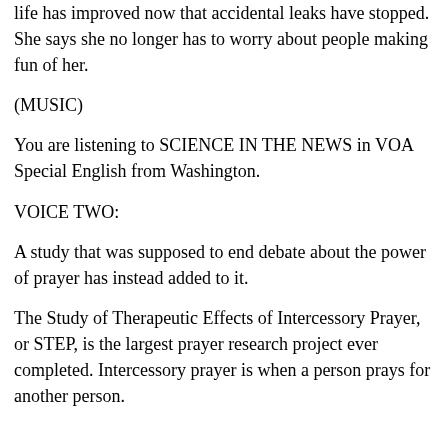there is future. Now they are working well and she says her quality of life has improved now that accidental leaks have stopped. She says she no longer has to worry about people making fun of her.
(MUSIC)
You are listening to SCIENCE IN THE NEWS in VOA Special English from Washington.
VOICE TWO:
A study that was supposed to end debate about the power of prayer has instead added to it.
The Study of Therapeutic Effects of Intercessory Prayer, or STEP, is the largest prayer research project ever completed. Intercessory prayer is when a person prays for another person.